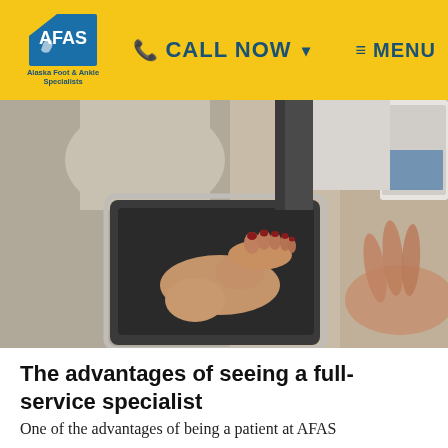Alaska Foot & Ankle Specialists | CALL NOW | MENU
[Figure (photo): Overhead view of a patient's bare foot on a medical scanning/imaging pad, with a clinician's hand visible in the foreground.]
The advantages of seeing a full-service specialist
One of the advantages of being a patient at AFAS